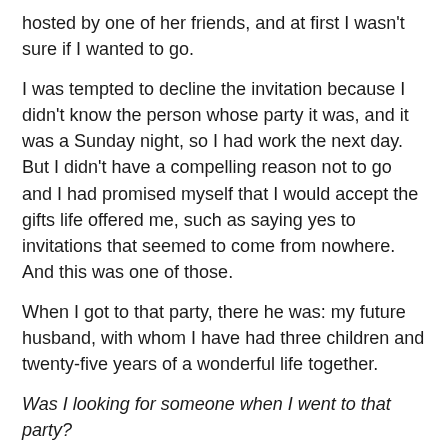hosted by one of her friends, and at first I wasn't sure if I wanted to go.
I was tempted to decline the invitation because I didn't know the person whose party it was, and it was a Sunday night, so I had work the next day. But I didn't have a compelling reason not to go and I had promised myself that I would accept the gifts life offered me, such as saying yes to invitations that seemed to come from nowhere. And this was one of those.
When I got to that party, there he was: my future husband, with whom I have had three children and twenty-five years of a wonderful life together.
Was I looking for someone when I went to that party?
No. And it was a surprise to meet him there. If I had been intentionally looking for a partner, I probably would not have even spoken to my husband that night.
When you look at each person you encounter as if you are screening them for a job with a life-long contract, it changes the